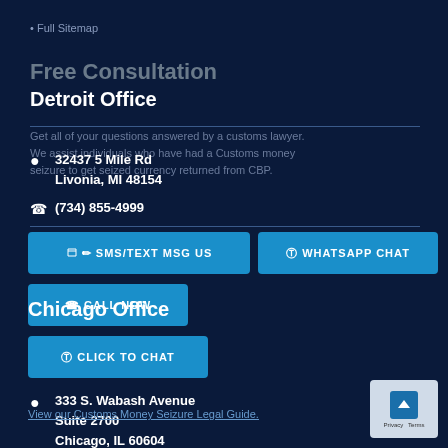• Full Sitemap
Free Consultation
Detroit Office
Get all of your questions answered by a customs lawyer. We assist individuals who have had a Customs money seizure to get seized currency returned from CBP.
32437 5 Mile Rd
Livonia, MI 48154
(734) 855-4999
✏ SMS/TEXT MSG US
© WHATSAPP CHAT
☎ CALL NOW
Chicago Office
© CLICK TO CHAT
333 S. Wabash Avenue
Suite 2700
Chicago, IL 60604
View our Customs Money Seizure Legal Guide.